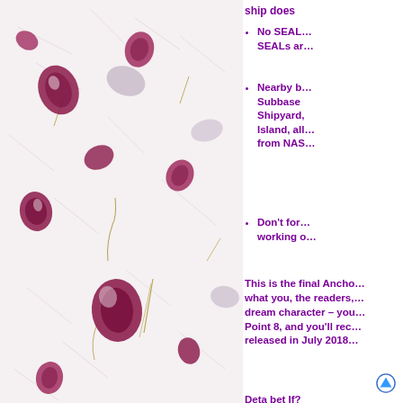[Figure (photo): Photo of pressed flower petals (dark pink/magenta) and leaves/stems scattered on a white fibrous background (handmade paper texture).]
ship does…
No SEAL… SEALs ar…
Nearby b… Subbase … Shipyard… Island, all… from NAS…
Don't for… working o…
This is the final Ancho… what you, the readers,… dream character – you… Point 8, and you'll rec… released in July 2018…
Deta bet If?